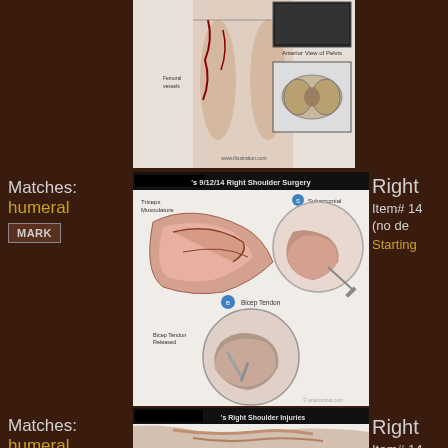[Figure (illustration): Partial anatomical medical illustration showing lower body with pelvis/hip diagram, cropped at top of page]
Matches: humeral
MARK
[Figure (illustration): Medical illustration labeled 's 9/12/14 Right Shoulder Surgery' showing shoulder anatomy with Triceps Musculature, Subacromial region, Bicep Tendon]
Right
Item# 14
(no de
Starting
Matches: humeral, glenohumeral
[Figure (illustration): Medical illustration labeled 's Right Shoulder Injuries' showing shoulder anatomy]
Right
Item# 14
(no de